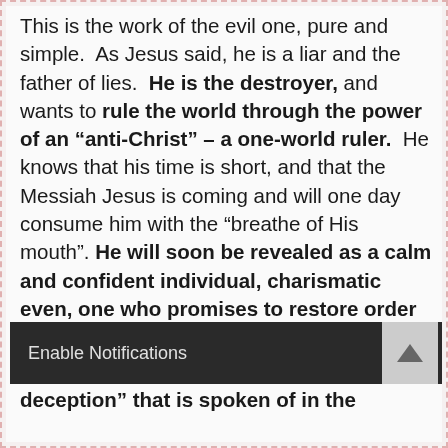This is the work of the evil one, pure and simple.  As Jesus said, he is a liar and the father of lies.  He is the destroyer, and wants to rule the world through the power of an “anti-Christ” – a one-world ruler.  He knows that his time is short, and that the Messiah Jesus is coming and will one day consume him with the “breathe of His mouth”. He will soon be revealed as a calm and confident individual, charismatic even, one who promises to restore order and bring peace to
deception” that is spoken of in the